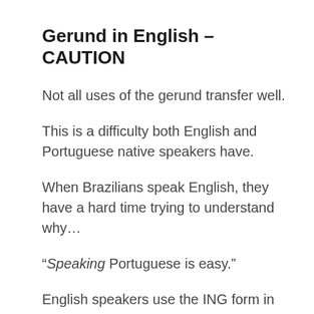Gerund in English – CAUTION
Not all uses of the gerund transfer well.
This is a difficulty both English and Portuguese native speakers have.
When Brazilians speak English, they have a hard time trying to understand why…
“Speaking Portuguese is easy.”
English speakers use the ING form in that sentence.
A Brazilian speaker would likely say: “speak